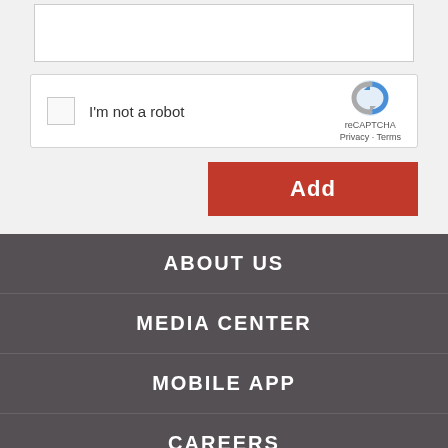[Figure (screenshot): Text area input box (top portion visible), partially cropped at top]
[Figure (screenshot): reCAPTCHA widget with checkbox labeled 'I'm not a robot' and reCAPTCHA logo with Privacy and Terms links]
Add
ABOUT US
MEDIA CENTER
MOBILE APP
CAREERS